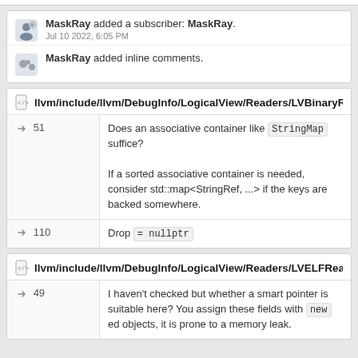MaskRay added a subscriber: MaskRay. Jul 10 2022, 6:05 PM
MaskRay added inline comments.
llvm/include/llvm/DebugInfo/LogicalView/Readers/LVBinaryReader.h
51 — Does an associative container like StringMap suffice? If a sorted associative container is needed, consider std::map<StringRef, ...> if the keys are backed somewhere.
110 — Drop = nullptr
llvm/include/llvm/DebugInfo/LogicalView/Readers/LVELFReader.h
49 — I haven't checked but whether a smart pointer is suitable here? You assign these fields with new ed objects, it is prone to a memory leak.